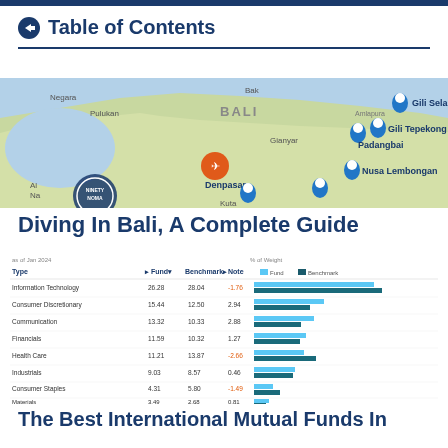Table of Contents
[Figure (map): Map of Bali showing dive locations including Gili Selang, Gili Tepekong, Padangbai, Nusa Lembongan, Denpasar, and Kuta with location pins and an airport marker.]
Diving In Bali, A Complete Guide
[Figure (bar-chart): % of Weight]
The Best International Mutual Funds In